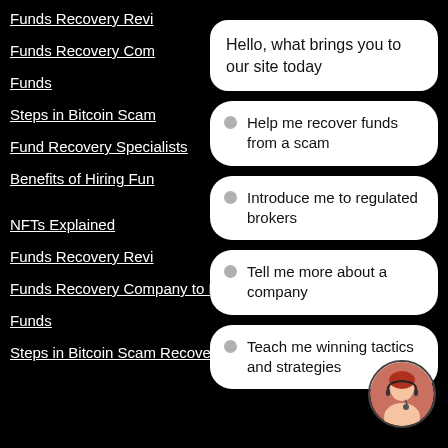Funds Recovery Revi[ew]
Funds Recovery Com[pany]
Funds
Steps in Bitcoin Scam[...]
Fund Recovery Specialists
Benefits of Hiring Fun[ds...]
NFTs Explained
Funds Recovery Revi[ew]
Funds Recovery Company to Recover Stolen Funds
Steps in Bitcoin Scam Recovery
Hello, what brings you to our site today
Help me recover funds from a scam
Introduce me to regulated brokers
Tell me more about a company
Teach me winning tactics and strategies
[Figure (photo): Customer support agent avatar — woman with headset, circular crop, green online indicator dot]